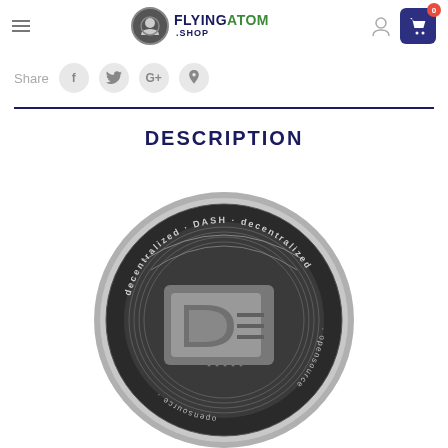FlyingAtom.Shop navigation header with hamburger menu, logo, user icon, and cart
Share
DESCRIPTION
[Figure (photo): A silver DASH cryptocurrency physical coin showing the DASH logo with text 'decentralized · DASH · decentralized · opensource' around the rim]